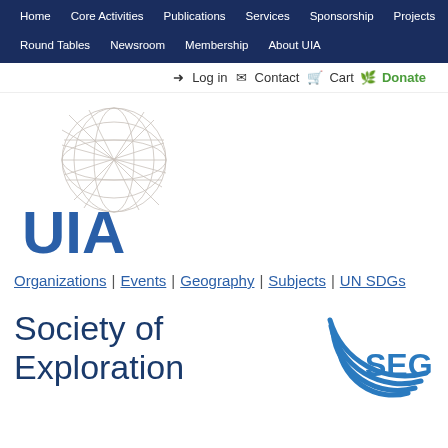Home | Core Activities | Publications | Services | Sponsorship | Projects | Round Tables | Newsroom | Membership | About UIA
Log in | Contact | Cart | Donate
[Figure (logo): UIA logo with geodesic globe wireframe above 'UIA' text in blue]
Organizations | Events | Geography | Subjects | UN SDGs
Society of Exploration
[Figure (logo): SEG logo - Society of Exploration Geophysicists circular arc logo with 'SEG' text]